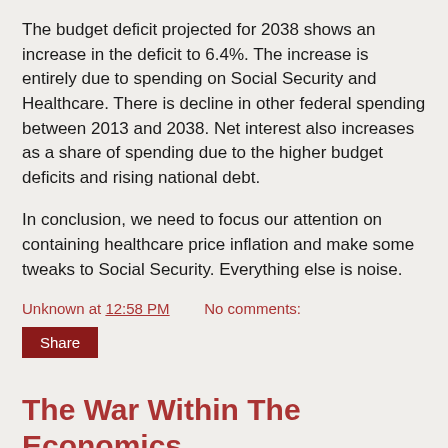The budget deficit projected for 2038 shows an increase in the deficit to 6.4%.  The increase is entirely due to spending on Social Security and Healthcare.  There is decline in other federal spending between 2013 and 2038.  Net interest also increases as a share of spending due to the higher budget deficits and rising national debt.
In conclusion, we need to focus our attention on containing healthcare price inflation and make some tweaks to Social Security.  Everything else is noise.
Unknown at 12:58 PM    No comments:
Share
The War Within The Economics Profession
Keynesian economics, which focused on restoring demand during downturns in the business cycle, was never popular with conservatives because it justified government